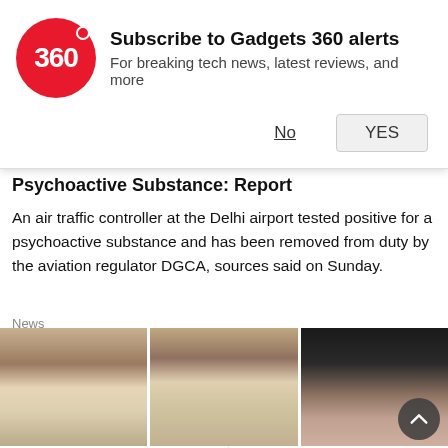[Figure (screenshot): Gadgets 360 subscription notification popup with red circular logo showing '360', title 'Subscribe to Gadgets 360 alerts', subtitle 'For breaking tech news, latest reviews, and more', and two buttons: 'No' and 'YES']
Psychoactive Substance: Report
An air traffic controller at the Delhi airport tested positive for a psychoactive substance and has been removed from duty by the aviation regulator DGCA, sources said on Sunday.
News
[Figure (photo): Three photos showing women celebrities. Left two photos show a young woman with long brunette hair wearing a white crop top and jeans. Right photo shows a woman with dark hair smiling, on a dark background.]
ra Sutaria Celebrated Parsi New Year   Parents-To-Be Bipa
th Ala... Sr... Se... Bi...              Si... Ca... St...